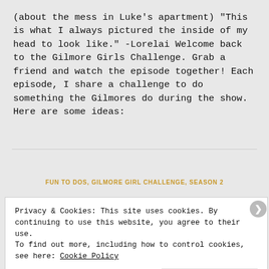(about the mess in Luke's apartment) "This is what I always pictured the inside of my head to look like." -Lorelai Welcome back to the Gilmore Girls Challenge. Grab a friend and watch the episode together! Each episode, I share a challenge to do something the Gilmores do during the show.  Here are some ideas:
FUN TO DOS, GILMORE GIRL CHALLENGE, SEASON 2
Privacy & Cookies: This site uses cookies. By continuing to use this website, you agree to their use.
To find out more, including how to control cookies, see here: Cookie Policy
Close and accept